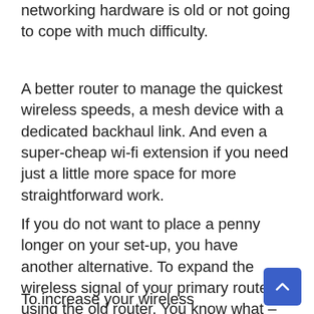networking hardware is old or not going to cope with much difficulty.
A better router to manage the quickest wireless speeds, a mesh device with a dedicated backhaul link. And even a super-cheap wi-fi extension if you need just a little more space for more straightforward work.
If you do not want to place a penny longer on your set-up, you have another alternative. To expand the wireless signal of your primary router using the old router. You know what – the actual, trustworthy retired workhorse you kept around (or out of laziness) in emergency cases.
To increase your wireless network's speed, adjust the old router in your house, rather than